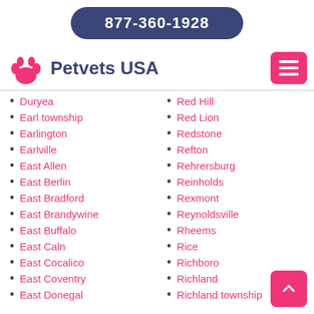877-360-1928
Petvets USA
Duryea
Earl township
Earlington
Earlville
East Allen
East Berlin
East Bradford
East Brandywine
East Buffalo
East Caln
East Cocalico
East Coventry
East Donegal
Red Hill
Red Lion
Redstone
Refton
Rehrersburg
Reinholds
Rexmont
Reynoldsville
Rheems
Rice
Richboro
Richland
Richland township